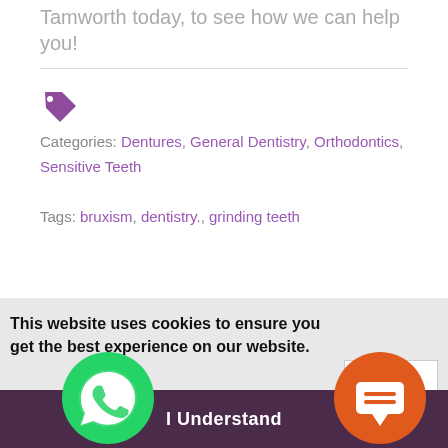Tamworth today, to see how we can help you!
[Figure (illustration): Purple price tag / label icon]
Categories: Dentures, General Dentistry, Orthodontics, Sensitive Teeth
Tags: bruxism, dentistry., grinding teeth
Search
This website uses cookies to ensure you get the best experience on our website.
Learn more
I Understand